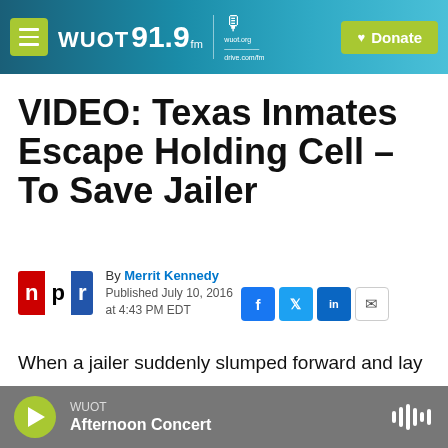WUOT 91.9 FM | wuot.org | Donate
VIDEO: Texas Inmates Escape Holding Cell – To Save Jailer
By Merrit Kennedy
Published July 10, 2016 at 4:43 PM EDT
When a jailer suddenly slumped forward and lay
WUOT — Afternoon Concert